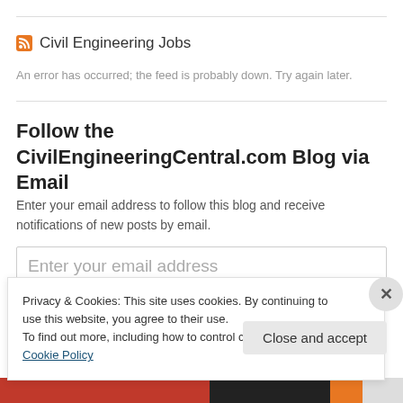Civil Engineering Jobs
An error has occurred; the feed is probably down. Try again later.
Follow the CivilEngineeringCentral.com Blog via Email
Enter your email address to follow this blog and receive notifications of new posts by email.
Enter your email address
Privacy & Cookies: This site uses cookies. By continuing to use this website, you agree to their use.
To find out more, including how to control cookies, see here: Cookie Policy
Close and accept